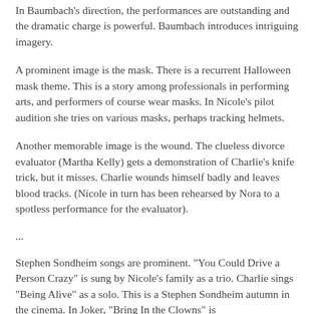In Baumbach's direction, the performances are outstanding and the dramatic charge is powerful. Baumbach introduces intriguing imagery.
A prominent image is the mask. There is a recurrent Halloween mask theme. This is a story among professionals in performing arts, and performers of course wear masks. In Nicole's pilot audition she tries on various masks, perhaps tracking helmets.
Another memorable image is the wound. The clueless divorce evaluator (Martha Kelly) gets a demonstration of Charlie's knife trick, but it misses. Charlie wounds himself badly and leaves blood tracks. (Nicole in turn has been rehearsed by Nora to a spotless performance for the evaluator).
...
Stephen Sondheim songs are prominent. "You Could Drive a Person Crazy" is sung by Nicole's family as a trio. Charlie sings "Being Alive" as a solo. This is a Stephen Sondheim autumn in the cinema. In Joker, "Bring In the Clowns" is